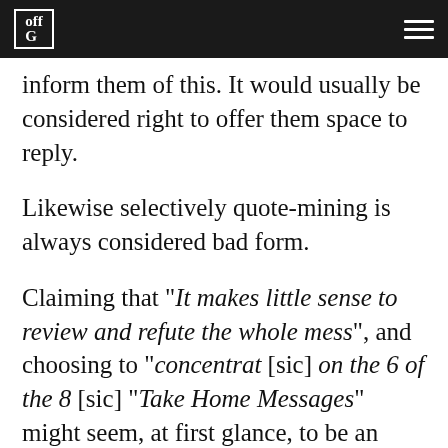off G
inform them of this. It would usually be considered right to offer them space to reply.
Likewise selectively quote-mining is always considered bad form.
Claiming that “It makes little sense to review and refute the whole mess”, and choosing to “concentrat [sic] on the 6 of the 8 [sic] “Take Home Messages” might seem, at first glance, to be an effort at maintaining brevity. However a more cynical reader might point out that, in doing so, MoA has chosen the only section of the text with no